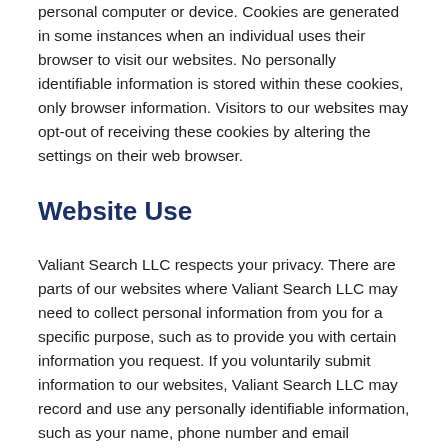personal computer or device. Cookies are generated in some instances when an individual uses their browser to visit our websites. No personally identifiable information is stored within these cookies, only browser information. Visitors to our websites may opt-out of receiving these cookies by altering the settings on their web browser.
Website Use
Valiant Search LLC respects your privacy. There are parts of our websites where Valiant Search LLC may need to collect personal information from you for a specific purpose, such as to provide you with certain information you request. If you voluntarily submit information to our websites, Valiant Search LLC may record and use any personally identifiable information, such as your name, phone number and email address, for reasonable business purposes including, but not limited to, fulfilling your request and marketing and